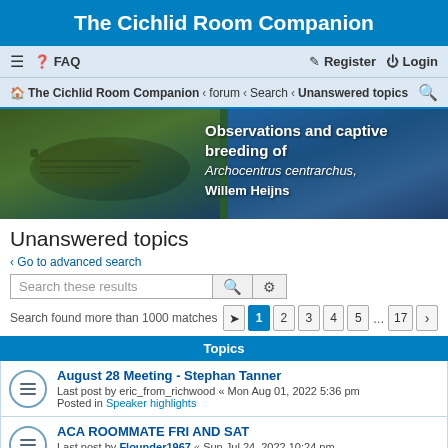The Cichlid Room Companion
≡  ❓ FAQ    Register  ⏻ Login
🏠 The Cichlid Room Companion ‹ forum ‹ Search ‹ Unanswered topics 🔍
[Figure (photo): Banner image of cichlid fish with text: Observations and captive breeding of Archocentrus centrarchus, Willem Heijns]
Unanswered topics
‹ Go to advanced search
Search these results [search button] [settings button]
Search found more than 1000 matches  [goto] 1 2 3 4 5 ... 17 >
Topics
August 28 Meeting - Stephan Tanner
Last post by eric_from_richwood « Mon Aug 01, 2022 5:36 pm
Posted in Speaker highlights
ACA ROOMMATE FRI AND SAT
Last post by Flounder1967 « Sun Jul 24, 2022 10:24 pm
Posted in General discussion